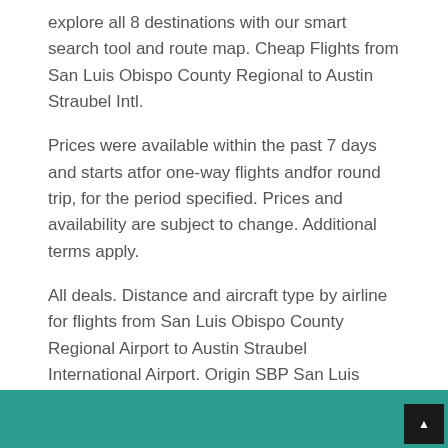explore all 8 destinations with our smart search tool and route map. Cheap Flights from San Luis Obispo County Regional to Austin Straubel Intl.
Prices were available within the past 7 days and starts atfor one-way flights andfor round trip, for the period specified. Prices and availability are subject to change. Additional terms apply.
All deals. Distance and aircraft type by airline for flights from San Luis Obispo County Regional Airport to Austin Straubel International Airport. Origin SBP San Luis Obispo County Regional Airport.
Destination GRB Austin Straubel International Airport. Distance 1, miles. Interesting Facts About Flights from San Luis Obispo to Green Bay (SBP to GRB).